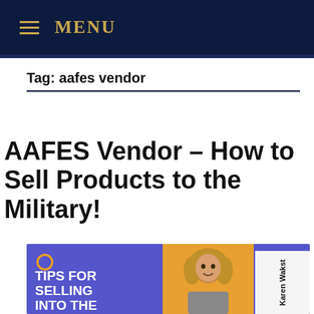MENU
Tag: aafes vendor
AAFES Vendor – How to Sell Products to the Military!
[Figure (illustration): Thumbnail image for AAFES vendor article showing blue background with text 'TIPS FOR SELLING INTO THE...' and a photo of a woman with curly hair, a LIVE badge, and Karen Wakst name bar.]